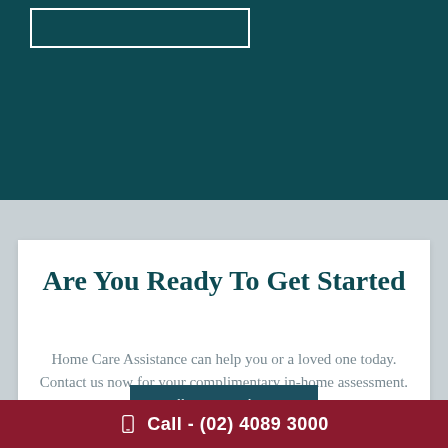[Figure (other): Dark teal header background with white outlined rectangle box in upper left]
Are You Ready To Get Started
Home Care Assistance can help you or a loved one today. Contact us now for your complimentary in-home assessment.
Call Your Local Team
Call - (02) 4089 3000